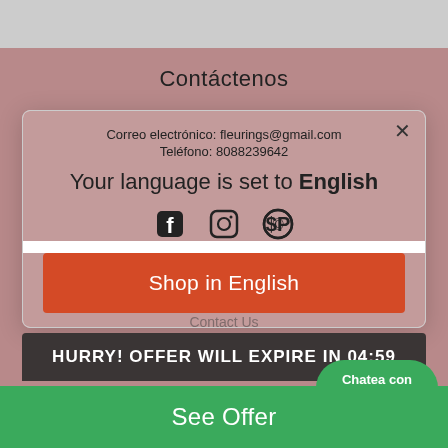[Figure (screenshot): Screenshot of a website with a language selection modal popup. The background shows a Spanish-language store page with 'Contáctenos' (Contact Us) heading, contact details, and navigation links. A modal dialog overlays the page showing 'Your language is set to English' with a 'Shop in English' orange button and 'Change language' option. Below the modal is a deal notification bar 'Deal unlocked! Get this product for 50% off' and a dark countdown bar 'HURRY! OFFER WILL EXPIRE IN 04:59'. A green 'See Offer' bar is at the bottom. A green chat button 'Chatea con nosotros' appears in the bottom right.]